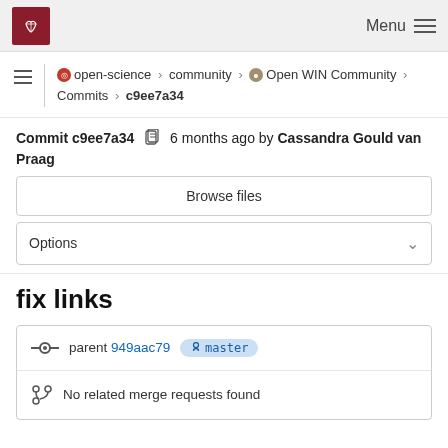Menu
open-science > community > Open WIN Community > Commits > c9ee7a34
Commit c9ee7a34  6 months ago by Cassandra Gould van Praag
Browse files
Options
fix links
parent 949aac79  master
No related merge requests found